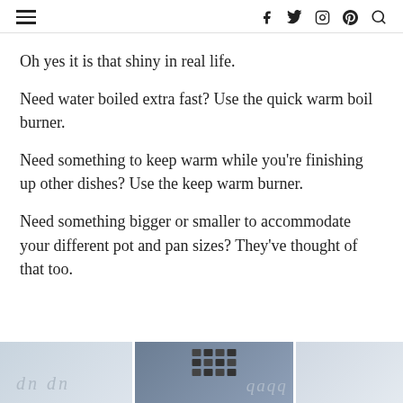≡   f  ʸ  ⊙  ⊕  🔍
Oh yes it is that shiny in real life.
Need water boiled extra fast? Use the quick warm boil burner.
Need something to keep warm while you're finishing up other dishes? Use the keep warm burner.
Need something bigger or smaller to accommodate your different pot and pan sizes? They've thought of that too.
[Figure (photo): Partial bottom strip showing three cropped photos of kitchen stove/cooktop products]